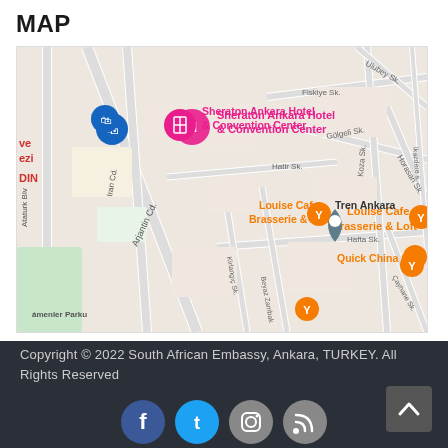MAP
[Figure (map): Google Maps screenshot showing location of Sheraton Ankara Hotel & Convention Center, with nearby landmarks including Louise Cafe Brasserie & Loft, Tren Ankara, Quick China GOP, and streets including Arjantin Cd., Iran Cd., Ataturk Blv., Beyaz Zambak Sk., Hafta Sk., Fiskiye Sk., Golgeli Sk., Horasan Sk., Koza Sk., Ulubey Sk.]
Copyright © 2022 South African Embassy, Ankara, TURKEY. All Rights Reserved